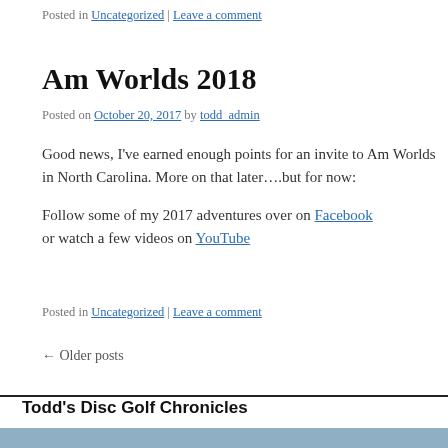Posted in Uncategorized | Leave a comment
Am Worlds 2018
Posted on October 20, 2017 by todd_admin
Good news, I've earned enough points for an invite to Am Worlds in North Carolina. More on that later….but for now:
Follow some of my 2017 adventures over on Facebook or watch a few videos on YouTube
Posted in Uncategorized | Leave a comment
← Older posts
Todd's Disc Golf Chronicles